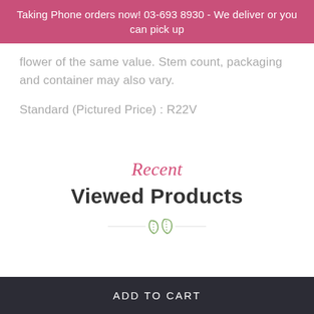Taking Phone orders now! 03-693 8930 - We deliver or you can pick up
flower of the same value. Stem count, packaging and container may also vary.
Standard (Pictured Price) : R22V
Recent
Viewed Products
[Figure (illustration): Two green leaf icons with horizontal divider lines on each side]
ADD TO CART